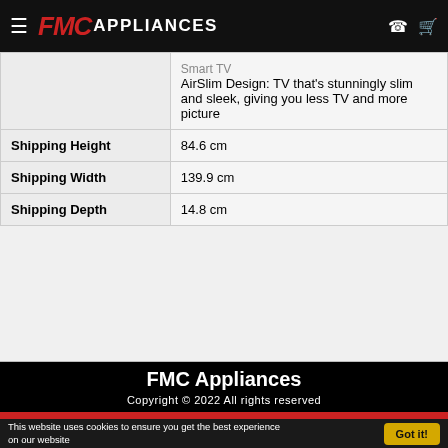FMC Appliances
|  | Smart TV
AirSlim Design: TV that's stunningly slim and sleek, giving you less TV and more picture |
| Shipping Height | 84.6 cm |
| Shipping Width | 139.9 cm |
| Shipping Depth | 14.8 cm |
FMC Appliances
Copyright © 2022 All rights reserved
This website uses cookies to ensure you get the best experience on our website